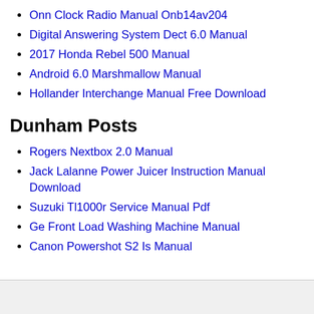Onn Clock Radio Manual Onb14av204
Digital Answering System Dect 6.0 Manual
2017 Honda Rebel 500 Manual
Android 6.0 Marshmallow Manual
Hollander Interchange Manual Free Download
Dunham Posts
Rogers Nextbox 2.0 Manual
Jack Lalanne Power Juicer Instruction Manual Download
Suzuki Tl1000r Service Manual Pdf
Ge Front Load Washing Machine Manual
Canon Powershot S2 Is Manual